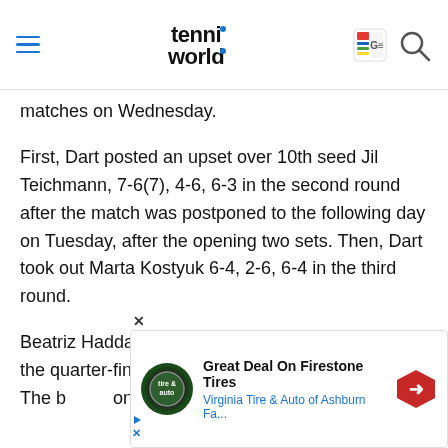Tennis World (navigation bar with hamburger menu, logo, and icons)
matches on Wednesday.
First, Dart posted an upset over 10th seed Jil Teichmann, 7-6(7), 4-6, 6-3 in the second round after the match was postponed to the following day on Tuesday, after the opening two sets. Then, Dart took out Marta Kostyuk 6-4, 2-6, 6-4 in the third round.
Beatriz Haddad Maia and Lesia Tsurenko will play the quarter-finals of the Rothesay International. The b... on grass... t Jodie...
[Figure (infographic): Advertisement banner for Virginia Tire & Auto of Ashburn: 'Great Deal On Firestone Tires' with Tire & Auto logo, navigation arrow icon, play and close buttons.]